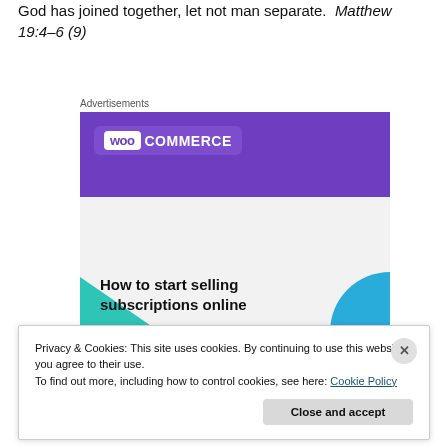God has joined together, let not man separate.  Matthew 19:4–6 (9)
Advertisements
[Figure (photo): WooCommerce advertisement banner: purple header with WooCommerce logo, teal triangle bottom-left, blue arc bottom-right, headline 'How to start selling subscriptions online' on light gray background]
Privacy & Cookies: This site uses cookies. By continuing to use this website, you agree to their use.
To find out more, including how to control cookies, see here: Cookie Policy
Close and accept